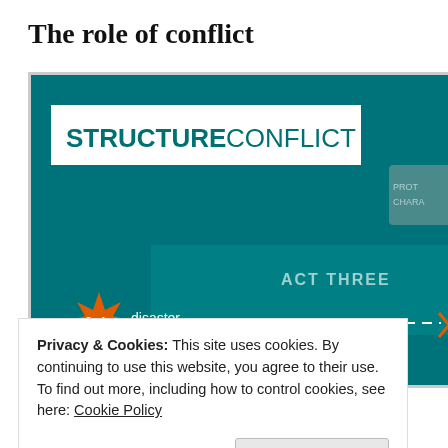The role of conflict
[Figure (screenshot): A teal/green-colored educational diagram showing a story structure chart with the heading 'STRUCTURE CONFLICT' in a white box. The diagram shows narrative elements including 'ACT THREE' label and a '3rd disaster' marker with an orange starburst shape. A line graph with dashed orange line is partially visible at the bottom.]
Privacy & Cookies: This site uses cookies. By continuing to use this website, you agree to their use.
To find out more, including how to control cookies, see here: Cookie Policy
Close and accept